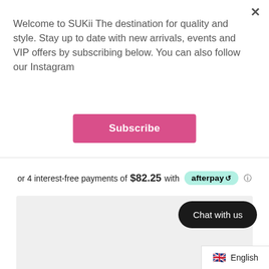×
Welcome to SUKii The destination for quality and style. Stay up to date with new arrivals, events and VIP offers by subscribing below. You can also follow our Instagram
Subscribe
or 4 interest-free payments of $82.25 with afterpay ℹ
[Figure (screenshot): Gray placeholder box representing product image area]
Chat with us
🇬🇧 English